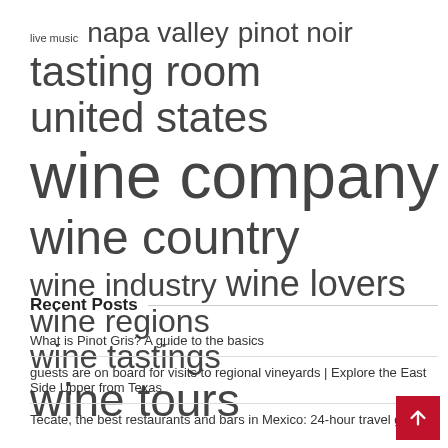live music  napa valley  pinot noir
tasting room  united states
wine company  wine country
wine industry  wine lovers  wine regions
wine tastings  wine tours
Recent Posts
What is Pinot Gris? A guide to the basics
guests are on board for visits to regional vineyards | Explore the East Side Upper from Texas
Tecate, the best restaurants and bars in Mexico: 24-hour travel guide